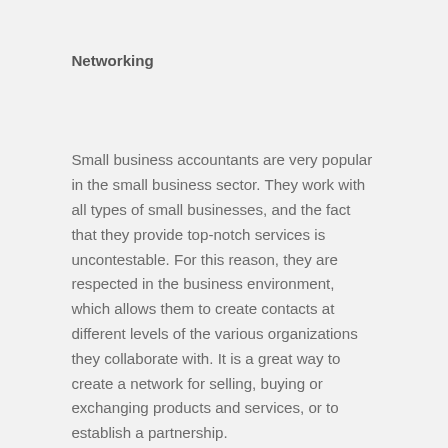Networking
Small business accountants are very popular in the small business sector. They work with all types of small businesses, and the fact that they provide top-notch services is uncontestable. For this reason, they are respected in the business environment, which allows them to create contacts at different levels of the various organizations they collaborate with. It is a great way to create a network for selling, buying or exchanging products and services, or to establish a partnership.
As you can see, contracting the services of a professional small business accountant can bring benefits on multiple levels. Professional small business accountants do not just sit at a desk crunching numbers. They can help you save money on taxes, increase the efficiency of your company's